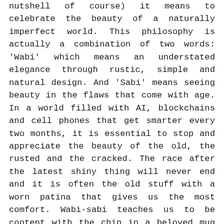nutshell of course) it means to celebrate the beauty of a naturally imperfect world. This philosophy is actually a combination of two words: 'Wabi' which means an understated elegance through rustic, simple and natural design. And 'Sabi' means seeing beauty in the flaws that come with age. In a world filled with AI, blockchains and cell phones that get smarter every two months, it is essential to stop and appreciate the beauty of the old, the rusted and the cracked. The race after the latest shiny thing will never end and it is often the old stuff with a worn patina that gives us the most comfort. Wabi-sabi teaches us to be content with the chip in a beloved mug and to appreciate the wear and tear of a lived life. So this week, creative Framers, show us the beauty in imperfection. It would be the wrinkles in a smiling face, a decomposing flower, the cracked spine of a beloved book or an art table covered in used paint brushes and muddied paint.